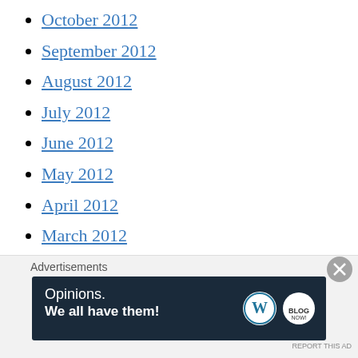October 2012
September 2012
August 2012
July 2012
June 2012
May 2012
April 2012
March 2012
February 2012
January 2012
December 2011
November 2011
October 2011
September 2011
Advertisements
[Figure (other): Advertisement banner: 'Opinions. We all have them!' with WordPress and another logo on dark navy background]